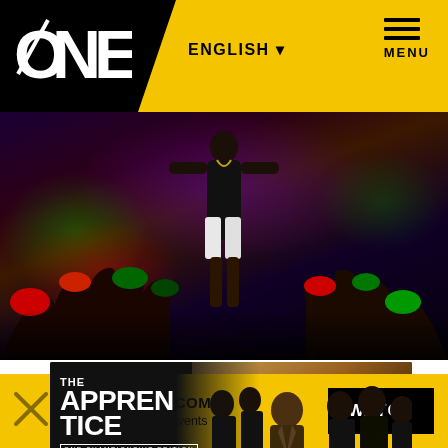[Figure (screenshot): ONE Championship navigation bar with black background, ONE logo in white on left, yellow chevron area with ENGLISH dropdown and hamburger MENU on right]
[Figure (photo): MMA fighter walking through crowd to the ring, fans reaching out with hands, dark arena with purple and green lighting]
[Figure (photo): The Apprentice ONE Championship Edition banner: Season 2 Now Casting, showing silhouette of suited man against group of shadowed figures]
[Figure (infographic): Yellow bottom bar with X mark, WATCH.ONEFC.COM text, Gain access to LIVE events subtitle, and black WATCH button on right]